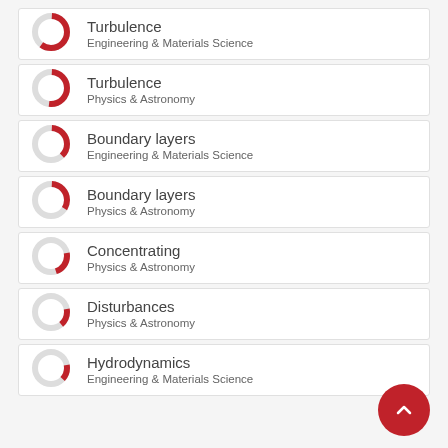Turbulence — Engineering & Materials Science
Turbulence — Physics & Astronomy
Boundary layers — Engineering & Materials Science
Boundary layers — Physics & Astronomy
Concentrating — Physics & Astronomy
Disturbances — Physics & Astronomy
Hydrodynamics — Engineering & Materials Science